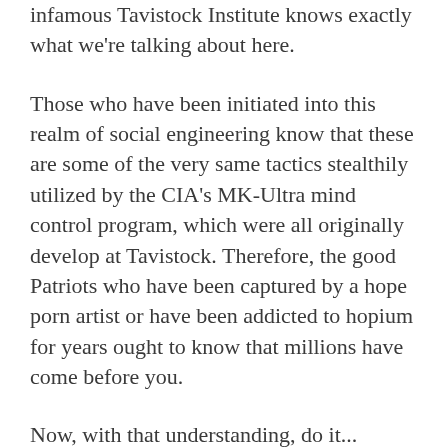infamous Tavistock Institute knows exactly what we're talking about here.
Those who have been initiated into this realm of social engineering know that these are some of the very same tactics stealthily utilized by the CIA's MK-Ultra mind control program, which were all originally develop at Tavistock. Therefore, the good Patriots who have been captured by a hope porn artist or have been addicted to hopium for years ought to know that millions have come before you.
Now, with that understanding, do it...